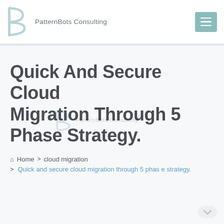PatternBots Consulting
Quick And Secure Cloud Migration Through 5 Phase Strategy.
Home > cloud migration > Quick and secure cloud migration through 5 phase strategy.